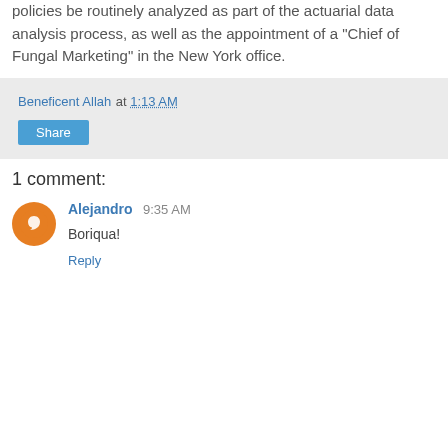policies be routinely analyzed as part of the actuarial data analysis process, as well as the appointment of a "Chief of Fungal Marketing" in the New York office.
Beneficent Allah at 1:13 AM
Share
1 comment:
Alejandro 9:35 AM
Boriqua!
Reply